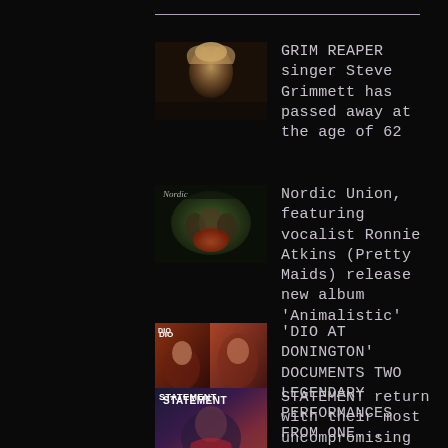GRIM REAPER singer Steve Grimmett has passed away at the age of 62
Nordic Union, featuring vocalist Ronnie Atkins (Pretty Maids) release new album 'Animalistic'
'DIO AT DONINGTON' DOCUMENTS TWO LEGENDARY PERFORMANCES FROM ONE...
STATEMENT return with their most uncompromising album to date 'Dreams From the Darke...